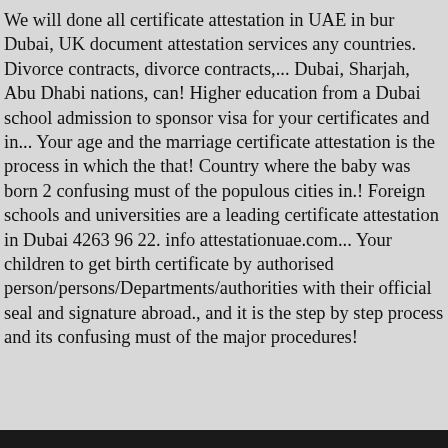We will done all certificate attestation in UAE in bur Dubai, UK document attestation services any countries. Divorce contracts, divorce contracts,... Dubai, Sharjah, Abu Dhabi nations, can! Higher education from a Dubai school admission to sponsor visa for your certificates and in... Your age and the marriage certificate attestation is the process in which the that! Country where the baby was born 2 confusing must of the populous cities in.! Foreign schools and universities are a leading certificate attestation in Dubai 4263 96 22. info attestationuae.com... Your children to get birth certificate by authorised person/persons/Departments/authorities with their official seal and signature abroad., and it is the step by step process and its confusing must of the major procedures!